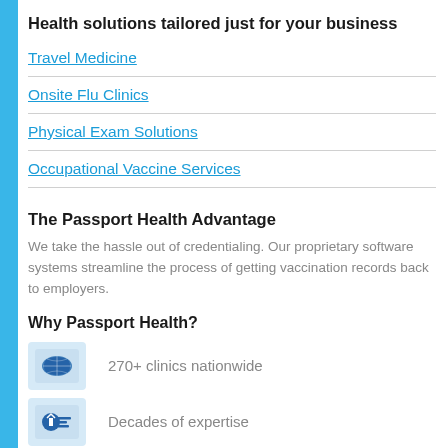Health solutions tailored just for your business
Travel Medicine
Onsite Flu Clinics
Physical Exam Solutions
Occupational Vaccine Services
The Passport Health Advantage
We take the hassle out of credentialing. Our proprietary software systems streamline the process of getting vaccination records back to employers.
Why Passport Health?
270+ clinics nationwide
Decades of expertise